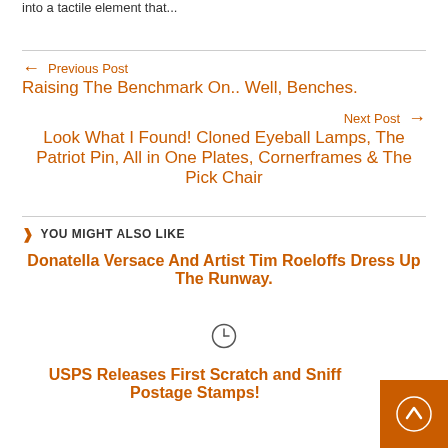into a tactile element that...
← Previous Post
Raising The Benchmark On.. Well, Benches.
Next Post →
Look What I Found! Cloned Eyeball Lamps, The Patriot Pin, All in One Plates, Cornerframes & The Pick Chair
YOU MIGHT ALSO LIKE
Donatella Versace And Artist Tim Roeloffs Dress Up The Runway.
[Figure (illustration): Clock/time icon circle]
USPS Releases First Scratch and Sniff Postage Stamps!